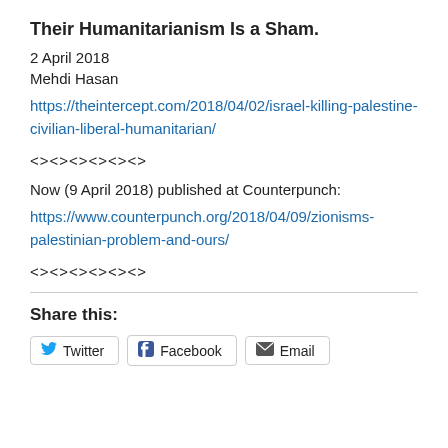Their Humanitarianism Is a Sham.
2 April 2018
Mehdi Hasan
https://theintercept.com/2018/04/02/israel-killing-palestine-civilian-liberal-humanitarian/
<><><><><><>
Now (9 April 2018) published at Counterpunch:
https://www.counterpunch.org/2018/04/09/zionisms-palestinian-problem-and-ours/
<><><><><><>
Share this:
Twitter  Facebook  Email